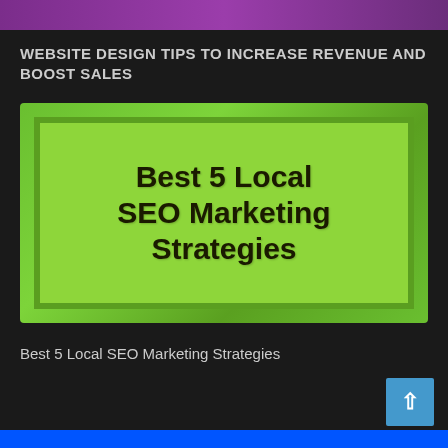WEBSITE DESIGN TIPS TO INCREASE REVENUE AND BOOST SALES
[Figure (illustration): Green graphic image with dark border containing bold black text reading 'Best 5 Local SEO Marketing Strategies' on a bright lime-green background]
Best 5 Local SEO Marketing Strategies